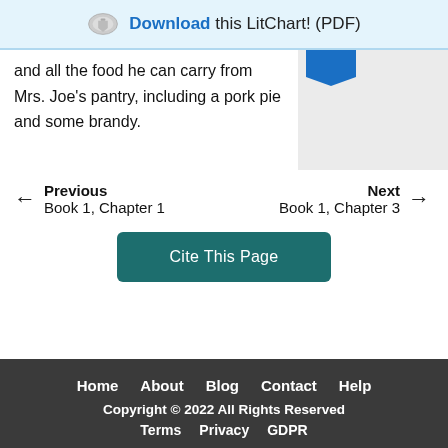Download this LitChart! (PDF)
and all the food he can carry from Mrs. Joe's pantry, including a pork pie and some brandy.
← Previous Book 1, Chapter 1
Next → Book 1, Chapter 3
Cite This Page
Home  About  Blog  Contact  Help
Copyright © 2022 All Rights Reserved
Terms  Privacy  GDPR